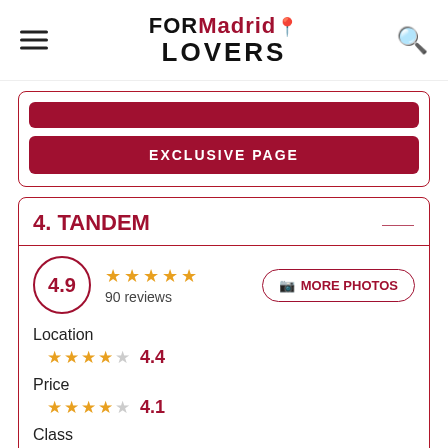FORMadrid LOVERS
EXCLUSIVE PAGE
4. TANDEM
4.9 — 90 reviews — MORE PHOTOS
Location 4.4
Price 4.1
Class 5